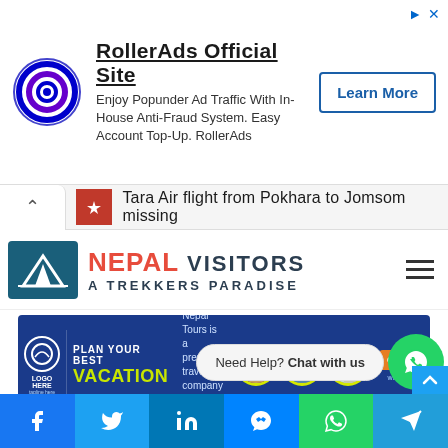[Figure (screenshot): RollerAds advertisement banner with circular target logo, title 'RollerAds Official Site', subtitle text, and Learn More button]
Tara Air flight from Pokhara to Jomsom missing
[Figure (logo): Nepal Visitors - A Trekkers Paradise site header logo with mountain graphic on teal background]
[Figure (screenshot): Nepal Tours vacation advertisement banner on blue background with circular images of temples and mountains, CLICK HERE button]
Need Help? Chat with us
[Figure (infographic): Social media share footer bar with Facebook, Twitter, LinkedIn, Messenger, WhatsApp, Telegram icons]